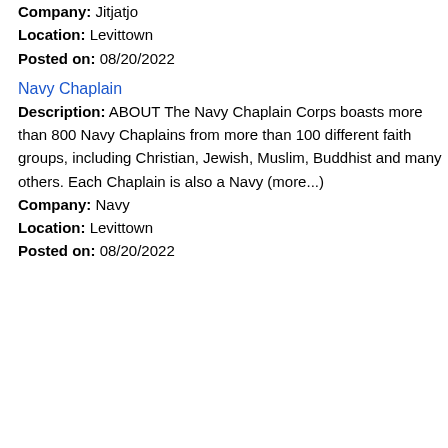Company: Jitjatjo
Location: Levittown
Posted on: 08/20/2022
Navy Chaplain
Description: ABOUT The Navy Chaplain Corps boasts more than 800 Navy Chaplains from more than 100 different faith groups, including Christian, Jewish, Muslim, Buddhist and many others. Each Chaplain is also a Navy (more...)
Company: Navy
Location: Levittown
Posted on: 08/20/2022